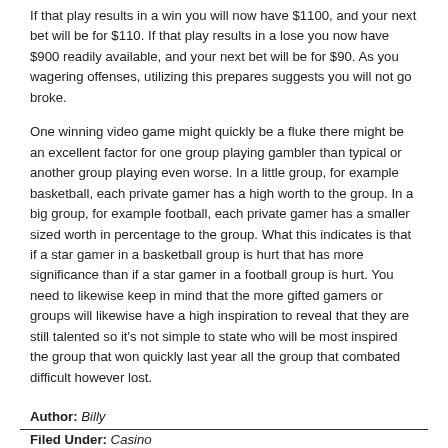If that play results in a win you will now have $1100, and your next bet will be for $110. If that play results in a lose you now have $900 readily available, and your next bet will be for $90. As you wagering offenses, utilizing this prepares suggests you will not go broke.
One winning video game might quickly be a fluke there might be an excellent factor for one group playing gambler than typical or another group playing even worse. In a little group, for example basketball, each private gamer has a high worth to the group. In a big group, for example football, each private gamer has a smaller sized worth in percentage to the group. What this indicates is that if a star gamer in a basketball group is hurt that has more significance than if a star gamer in a football group is hurt. You need to likewise keep in mind that the more gifted gamers or groups will likewise have a high inspiration to reveal that they are still talented so it's not simple to state who will be most inspired the group that won quickly last year all the group that combated difficult however lost.
Author: Billy
Filed Under: Casino